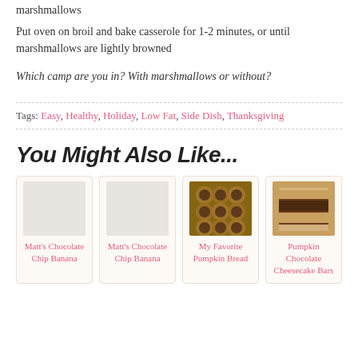marshmallows
Put oven on broil and bake casserole for 1-2 minutes, or until marshmallows are lightly browned
Which camp are you in? With marshmallows or without?
Tags: Easy, Healthy, Holiday, Low Fat, Side Dish, Thanksgiving
You Might Also Like...
[Figure (photo): Matt's Chocolate Chip Banana - placeholder image]
[Figure (photo): Matt's Chocolate Chip Banana - placeholder image]
[Figure (photo): My Favorite Pumpkin Bread - food photo showing chocolate truffles in a baking tray]
[Figure (photo): Pumpkin Chocolate Cheesecake Bars - food photo showing stacked cheesecake bars]